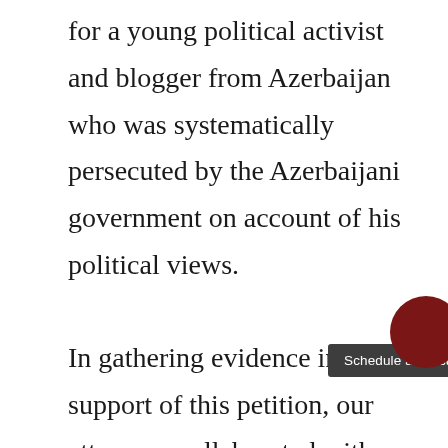for a young political activist and blogger from Azerbaijan who was systematically persecuted by the Azerbaijani government on account of his political views.

In gathering evidence in support of this petition, our attorneys collaborated with well-known pro-democracy activists and journalists around the world. We demonstrated to the satisfaction of the United States Citizenship and Immigration Services (USCIS) that the authorities had been systematically imprisoning, torturing and threatening young bloggers and political activists,
[Figure (screenshot): A dark tooltip overlay reading 'Schedule a consultation' with a scroll-up arrow button to its right, and a dark red circle partially visible at the right edge, overlaid on the document text.]